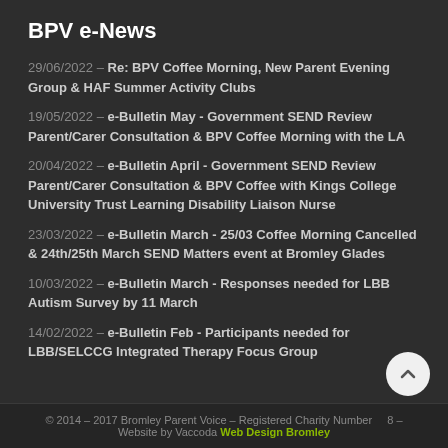BPV e-News
29/06/2022 – Re: BPV Coffee Morning, New Parent Evening Group & HAF Summer Activity Clubs
19/05/2022 – e-Bulletin May - Government SEND Review Parent/Carer Consultation & BPV Coffee Morning with the LA
20/04/2022 – e-Bulletin April - Government SEND Review Parent/Carer Consultation & BPV Coffee with Kings College University Trust Learning Disability Liaison Nurse
23/03/2022 – e-Bulletin March - 25/03 Coffee Morning Cancelled & 24th/25th March SEND Matters event at Bromley Glades
10/03/2022 – e-Bulletin March - Responses needed for LBB Autism Survey by 11 March
14/02/2022 – e-Bulletin Feb - Participants needed for LBB/SELCCG Integrated Therapy Focus Group
© 2014 – 2017 Bromley Parent Voice – Registered Charity Number [hidden] – Website by Vaccoda Web Design Bromley